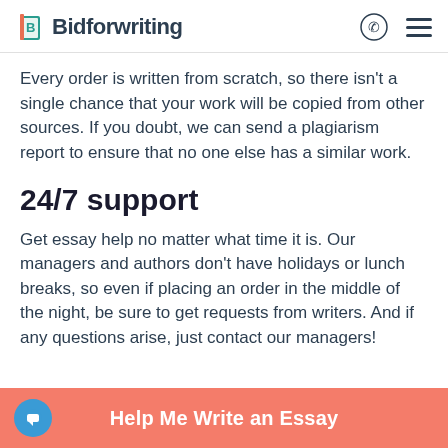Bidforwriting
Every order is written from scratch, so there isn't a single chance that your work will be copied from other sources. If you doubt, we can send a plagiarism report to ensure that no one else has a similar work.
24/7 support
Get essay help no matter what time it is. Our managers and authors don't have holidays or lunch breaks, so even if placing an order in the middle of the night, be sure to get requests from writers. And if any questions arise, just contact our managers!
Help Me Write an Essay